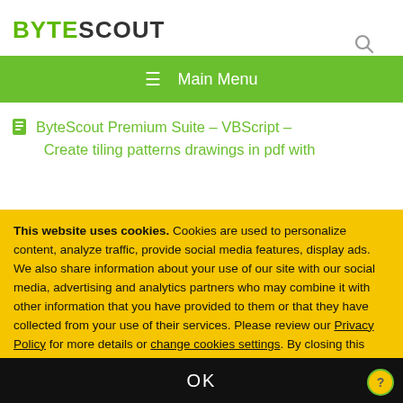BYTESCOUT
ByteScout Premium Suite – VBScript – Create tiling patterns drawings in pdf with
This website uses cookies. Cookies are used to personalize content, analyze traffic, provide social media features, display ads. We also share information about your use of our site with our social media, advertising and analytics partners who may combine it with other information that you have provided to them or that they have collected from your use of their services. Please review our Privacy Policy for more details or change cookies settings. By closing this banner or by clicking a link or continuing to browse otherwise, you consent to our cookies.
OK